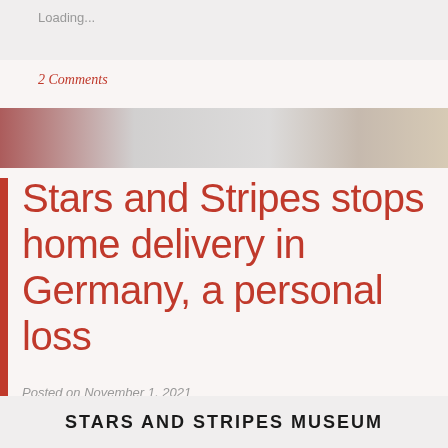Loading...
2 Comments
[Figure (photo): A blurred indoor photograph strip showing red and grey tones, appearing to be a hallway or museum interior]
Stars and Stripes stops home delivery in Germany, a personal loss
Posted on November 1, 2021
STARS AND STRIPES MUSEUM